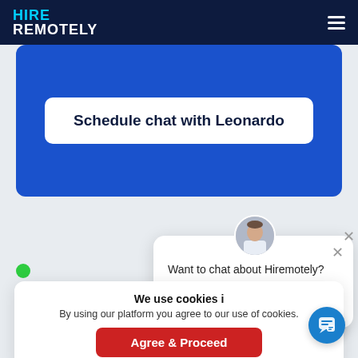HIRE REMOTELY
Schedule chat with Leonardo
[Figure (screenshot): Chat popup with avatar photo of a man in a white shirt. Text: Want to chat about Hiremotely? I'm here to help you find your way.]
We use cookies i
By using our platform you agree to our use of cookies.
Agree & Proceed
Brazil